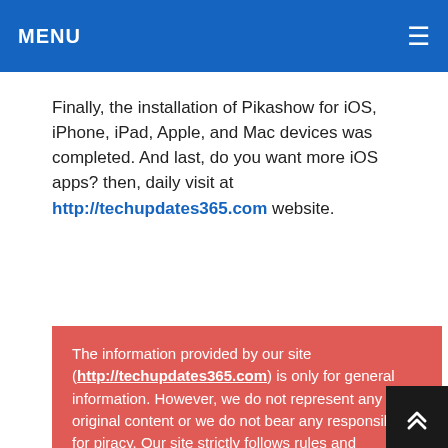MENU
Finally, the installation of Pikashow for iOS, iPhone, iPad, Apple, and Mac devices was completed. And last, do you want more iOS apps? then, daily visit at http://techupdates365.com website.
The information provided by our site (http://techupdates365.com) is only for general information. However, we do not represent any original content or we do not bear any responsibility for piracy. Our site strictly follows rules and regulations according to the law against piracy. We do not relate our site to the original site in any way. We purely obey the copyrighted contents, so, we discourage piracy and you will find copy-right free content on our website. For more references, visit the official